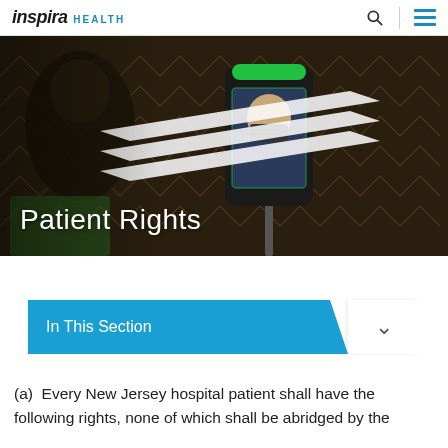inspira HEALTH
[Figure (photo): A person wearing a face mask using a temperature screening kiosk with a facial recognition display screen mounted on a stand. The screen shows the person's face masked. White diagonal stripes overlay the dark background. Text overlay reads 'Patient Rights'.]
Patient Rights
In This Section
(a)  Every New Jersey hospital patient shall have the following rights, none of which shall be abridged by the